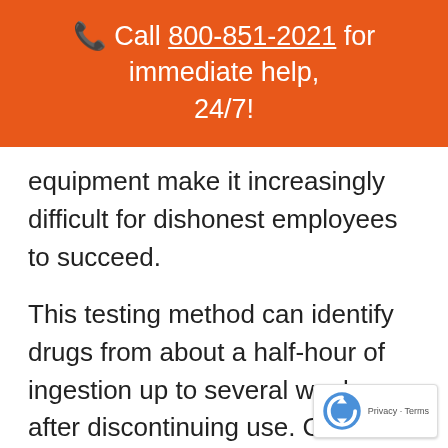Call 800-851-2021 for immediate help, 24/7!
equipment make it increasingly difficult for dishonest employees to succeed.
This testing method can identify drugs from about a half-hour of ingestion up to several weeks after discontinuing use. Chronic marijuana use is an exception to the rule. Addicts can t… positive for over thirty days. You ca…